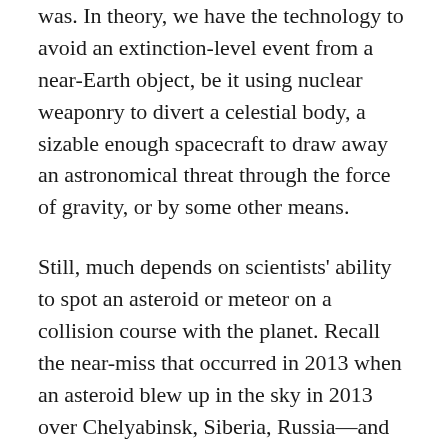was. In theory, we have the technology to avoid an extinction-level event from a near-Earth object, be it using nuclear weaponry to divert a celestial body, a sizable enough spacecraft to draw away an astronomical threat through the force of gravity, or by some other means.
Still, much depends on scientists' ability to spot an asteroid or meteor on a collision course with the planet. Recall the near-miss that occurred in 2013 when an asteroid blew up in the sky in 2013 over Chelyabinsk, Siberia, Russia—and relatively speaking, that one was small. Even if we watch the skies constantly,